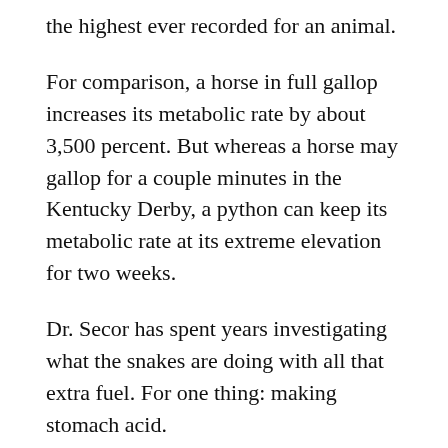the highest ever recorded for an animal.
For comparison, a horse in full gallop increases its metabolic rate by about 3,500 percent. But whereas a horse may gallop for a couple minutes in the Kentucky Derby, a python can keep its metabolic rate at its extreme elevation for two weeks.
Dr. Secor has spent years investigating what the snakes are doing with all that extra fuel. For one thing: making stomach acid.
We add some acid to our stomach a few times a day to handle our regular meals. But when a python is fasting, its stomach contains no acid at all. Its pH is the same as water.